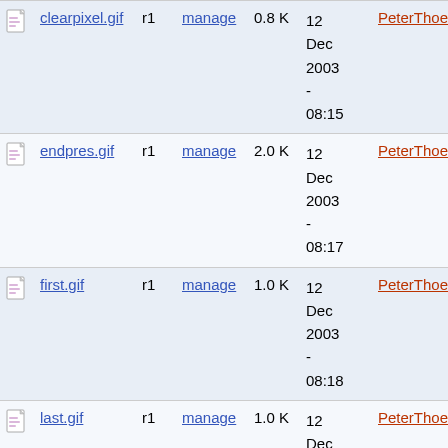|  | Name | Rev | Action | Size | Date | Author |
| --- | --- | --- | --- | --- | --- | --- |
| [icon] | clearpixel.gif | r1 | manage | 0.8 K | 12 Dec 2003 - 08:15 | PeterThoeny |
| [icon] | endpres.gif | r1 | manage | 2.0 K | 12 Dec 2003 - 08:17 | PeterThoeny |
| [icon] | first.gif | r1 | manage | 1.0 K | 12 Dec 2003 - 08:18 | PeterThoeny |
| [icon] | last.gif | r1 | manage | 1.0 K | 12 Dec 2003 - 08:18 | PeterThoeny |
| [icon] | logo.gif | r1 | manage | 2.8 K | 12 Dec ... | PeterThoeny |